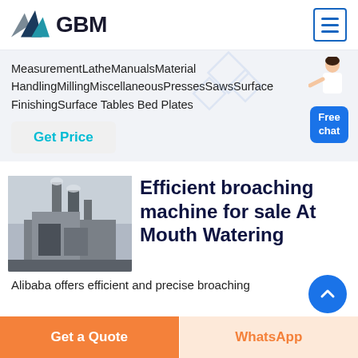[Figure (logo): GBM logo with blue/grey mountain triangles and bold GBM text]
MeasurementLatheManualsMaterial HandlingMillingMiscellaneousPressesSawsSurface FinishingSurface Tables Bed Plates
Get Price
[Figure (photo): Industrial machinery/plant facility exterior photo]
Efficient broaching machine for sale At Mouth Watering
Alibaba offers efficient and precise broaching
Get a Quote
WhatsApp